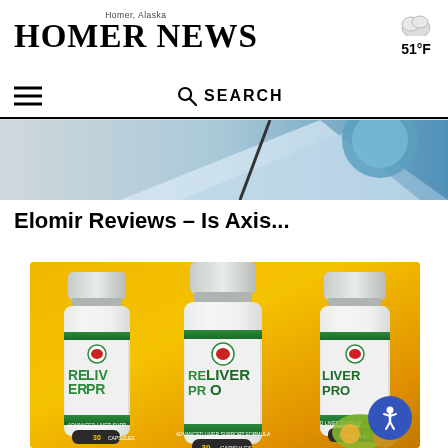Homer, Alaska
HOMER NEWS
51°F
SEARCH
[Figure (photo): Partial cropped banner image showing abstract blue/grey shapes, partially visible article header image]
Elomir Reviews – Is Axis...
[Figure (photo): Product image showing three bottles of ReLiver Pro Advanced Liver Support Formula dietary supplement, 30 capsules each, on a yellow/orange background with some herbs/spices visible in the lower right corner]